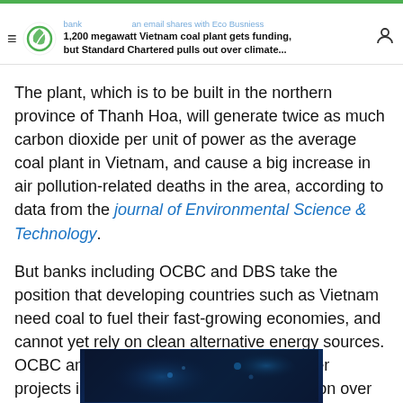1,200 megawatt Vietnam coal plant gets funding, but Standard Chartered pulls out over climate...
The plant, which is to be built in the northern province of Thanh Hoa, will generate twice as much carbon dioxide per unit of power as the average coal plant in Vietnam, and cause a big increase in air pollution-related deaths in the area, according to data from the journal of Environmental Science & Technology.
But banks including OCBC and DBS take the position that developing countries such as Vietnam need coal to fuel their fast-growing economies, and cannot yet rely on clean alternative energy sources. OCBC and DBS have funded 26 coal power projects in Asia worth more than US$2 billion over the last six years, according to data from Market Forces.
[Figure (photo): Dark blue image partially visible at bottom of page, appears to be a night or underwater scene]